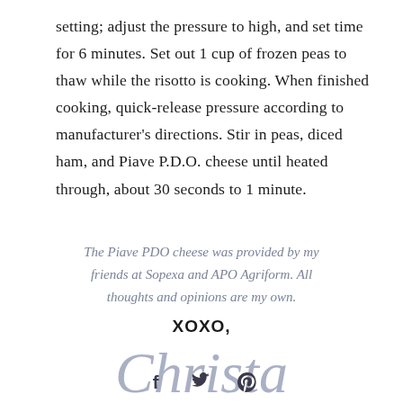setting; adjust the pressure to high, and set time for 6 minutes. Set out 1 cup of frozen peas to thaw while the risotto is cooking. When finished cooking, quick-release pressure according to manufacturer's directions. Stir in peas, diced ham, and Piave P.D.O. cheese until heated through, about 30 seconds to 1 minute.
The Piave PDO cheese was provided by my friends at Sopexa and APO Agriform. All thoughts and opinions are my own.
XOXO,
[Figure (illustration): Cursive signature reading 'Christa' in light blue-grey color]
[Figure (illustration): Social media icons: Facebook (f), Twitter (bird), Pinterest (P) in dark grey]